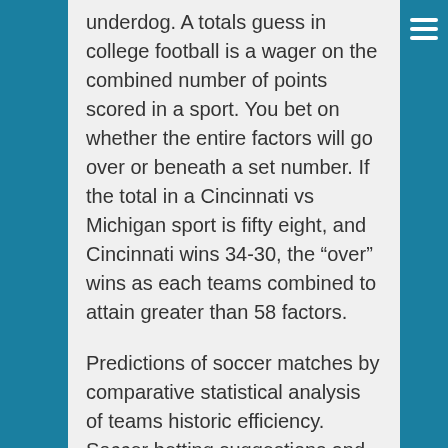underdog. A totals guess in college football is a wager on the combined number of points scored in a sport. You bet on whether the entire factors will go over or beneath a set number. If the total in a Cincinnati vs Michigan sport is fifty eight, and Cincinnati wins 34-30, the “over” wins as each teams combined to attain greater than 58 factors.
Predictions of soccer matches by comparative statistical analysis of teams historic efficiency. Soccer betting suggestions and return on funding estimation for chosen event teams. Get